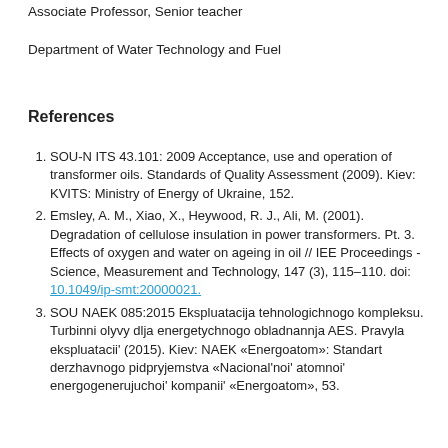Associate Professor, Senior teacher
Department of Water Technology and Fuel
References
SOU-N ITS 43.101: 2009 Acceptance, use and operation of transformer oils. Standards of Quality Assessment (2009). Kiev: KVITS: Ministry of Energy of Ukraine, 152.
Emsley, A. M., Xiao, X., Heywood, R. J., Ali, M. (2001). Degradation of cellulose insulation in power transformers. Pt. 3. Effects of oxygen and water on ageing in oil // IEE Proceedings - Science, Measurement and Technology, 147 (3), 115–110. doi: 10.1049/ip-smt:20000021.
SOU NAEK 085:2015 Ekspluatacija tehnologichnogo kompleksu. Turbinni olyvy dlja energetychnogo obladnannja AES. Pravyla ekspluatacii' (2015). Kiev: NAEK «Energoatom»: Standart derzhavnogo pidpryjemstva «Nacional'noi' atomnoi' energogenerujuchoi' kompanii' «Energoatom», 53.